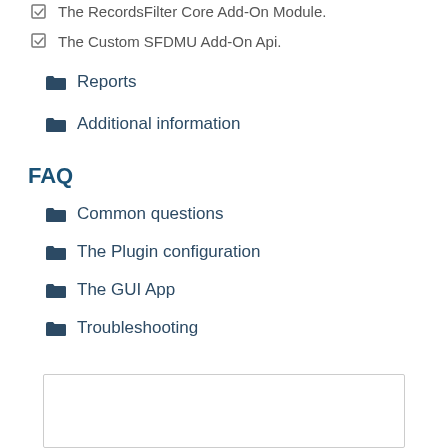The RecordsFilter Core Add-On Module.
The Custom SFDMU Add-On Api.
Reports
Additional information
FAQ
Common questions
The Plugin configuration
The GUI App
Troubleshooting